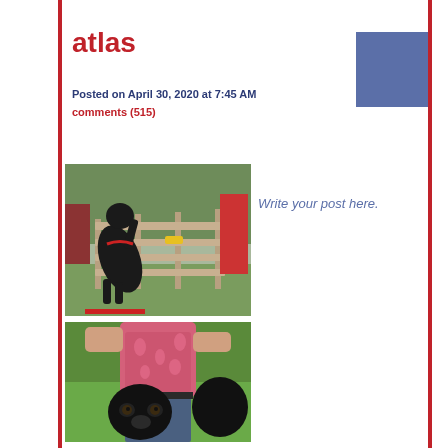atlas
Posted on April 30, 2020 at 7:45 AM
comments (515)
[Figure (photo): Black dog standing on hind legs with front paws on a wooden fence, outdoors with green trees and a red barn in background]
[Figure (photo): Black dog (Cane Corso type) standing on grass next to a person wearing a pink paisley shirt]
Write your post here.